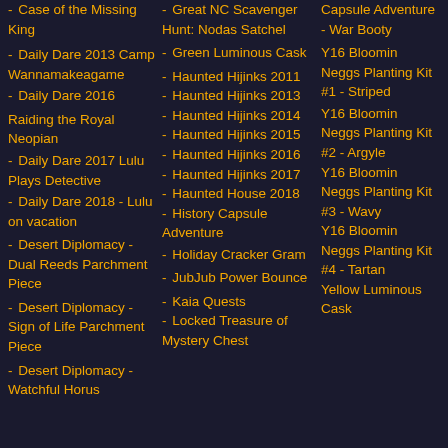Case of the Missing King
Daily Dare 2013 Camp Wannamakeagame
Daily Dare 2016
Raiding the Royal Neopian
Daily Dare 2017 Lulu Plays Detective
Daily Dare 2018 - Lulu on vacation
Desert Diplomacy - Dual Reeds Parchment Piece
Desert Diplomacy - Sign of Life Parchment Piece
Desert Diplomacy - Watchful Horus
Great NC Scavenger Hunt: Nodas Satchel
Green Luminous Cask
Haunted Hijinks 2011
Haunted Hijinks 2013
Haunted Hijinks 2014
Haunted Hijinks 2015
Haunted Hijinks 2016
Haunted Hijinks 2017
Haunted House 2018
History Capsule Adventure
Holiday Cracker Gram
JubJub Power Bounce
Kaia Quests
Locked Treasure of Mystery Chest
Capsule Adventure - War Booty
Y16 Bloomin Neggs Planting Kit #1 - Striped
Y16 Bloomin Neggs Planting Kit #2 - Argyle
Y16 Bloomin Neggs Planting Kit #3 - Wavy
Y16 Bloomin Neggs Planting Kit #4 - Tartan
Yellow Luminous Cask